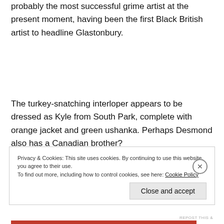probably the most successful grime artist at the present moment, having been the first Black British artist to headline Glastonbury.
The turkey-snatching interloper appears to be dressed as Kyle from South Park, complete with orange jacket and green ushanka. Perhaps Desmond also has a Canadian brother?
Privacy & Cookies: This site uses cookies. By continuing to use this website, you agree to their use.
To find out more, including how to control cookies, see here: Cookie Policy
Close and accept